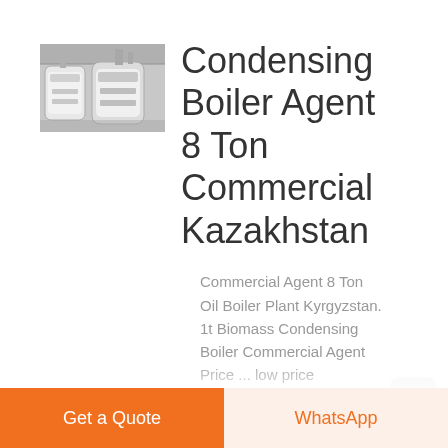[Figure (photo): Industrial condensing boiler units photographed in a factory or warehouse setting, showing large cylindrical white/grey boiler vessels.]
Condensing Boiler Agent 8 Ton Commercial Kazakhstan
Commercial Agent 8 Ton Oil Boiler Plant Kyrgyzstan. 1t Biomass Condensing Boiler Commercial Agent Price ... low price commercial 1t oil fired
Get a Quote
WhatsApp